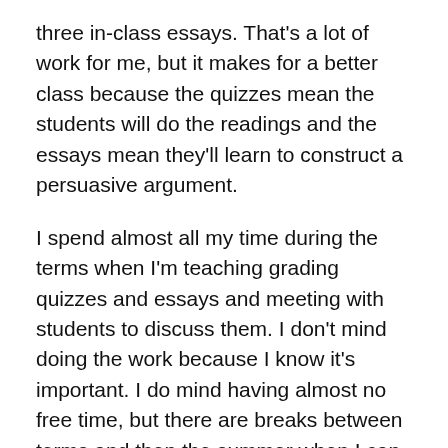three in-class essays. That's a lot of work for me, but it makes for a better class because the quizzes mean the students will do the readings and the essays mean they'll learn to construct a persuasive argument.
I spend almost all my time during the terms when I'm teaching grading quizzes and essays and meeting with students to discuss them. I don't mind doing the work because I know it's important. I do mind having almost no free time, but there are breaks between terms and then the summer when I can do some real research. I can't do much research while I'm teaching. There just isn't time.
Here's the kicker though. I'm tenured. I'm one of an increasingly tiny elite of tenured professors who have reasonable teaching loads and rock-solid job security. I teach two courses per term. Sounds pretty cushy, doesn't